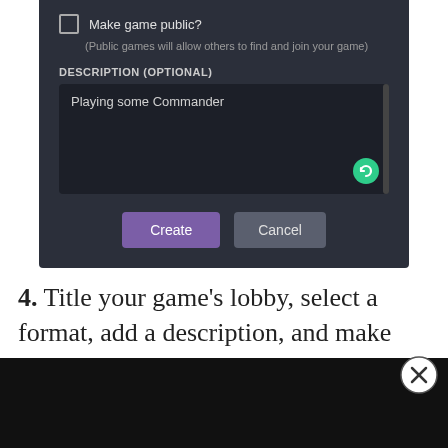[Figure (screenshot): Dark UI panel showing a game creation form with a 'Make game public?' checkbox, a description text area with 'Playing some Commander', a green refresh button, a scrollbar, and Create/Cancel buttons]
4. Title your game's lobby, select a format, add a description, and make your game public or private. If you opt to have it stay private,
[Figure (screenshot): Black bottom bar with a circular close (X) button in the bottom right corner]